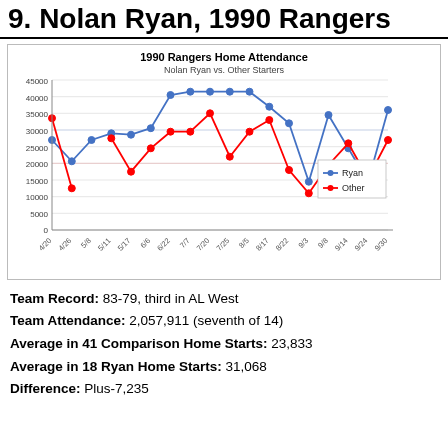9. Nolan Ryan, 1990 Rangers
[Figure (line-chart): 1990 Rangers Home Attendance
Nolan Ryan vs. Other Starters]
Team Record: 83-79, third in AL West
Team Attendance: 2,057,911 (seventh of 14)
Average in 41 Comparison Home Starts: 23,833
Average in 18 Ryan Home Starts: 31,068
Difference: Plus-7,235